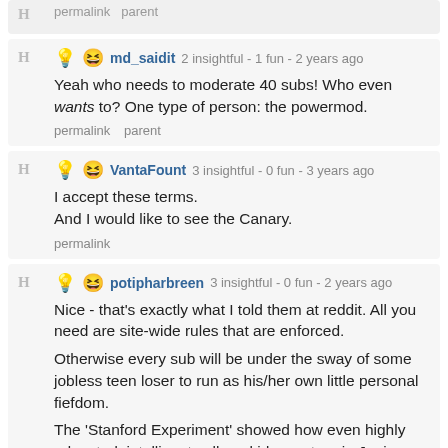permalink   parent
md_saidit 2 insightful - 1 fun - 2 years ago
Yeah who needs to moderate 40 subs! Who even wants to? One type of person: the powermod.
permalink   parent
VantaFount 3 insightful - 0 fun - 3 years ago
I accept these terms.
And I would like to see the Canary.
permalink
potipharbreen 3 insightful - 0 fun - 2 years ago
Nice - that's exactly what I told them at reddit. All you need are site-wide rules that are enforced.
Otherwise every sub will be under the sway of some jobless teen loser to run as his/her own little personal fiefdom.
The 'Stanford Experiment' showed how even highly educated, intelligent college kids can turn in Junior Hitlers when given a tiny bit of power over their fellow students.